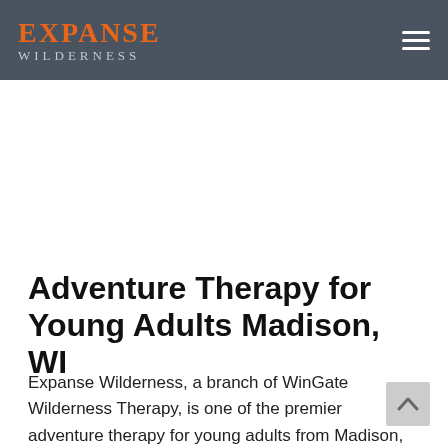EXPANSE WILDERNESS
Adventure Therapy for Young Adults Madison, WI
Expanse Wilderness, a branch of WinGate Wilderness Therapy, is one of the premier adventure therapy for young adults from Madison, WI, supporting at-risk young adults ages 18 to 28. We provide life-affirming wilderness adventure therapy and...